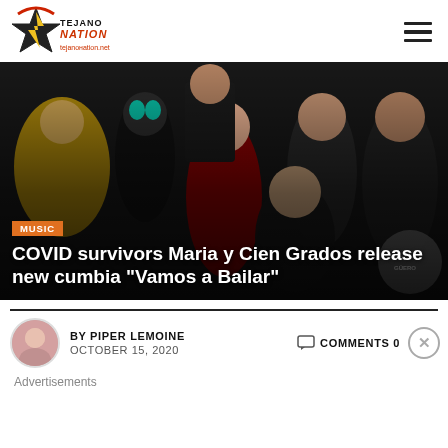[Figure (logo): Tejano Nation logo with star and lightning bolt, text tejanoнation.net]
[Figure (photo): Group photo of band members, one wearing a luchador mask and gold cape, woman in red dress center, others in black clothing]
MUSIC
COVID survivors Maria y Cien Grados release new cumbia “Vamos a Bailar”
BY PIPER LEMOINE   COMMENTS 0
OCTOBER 15, 2020
Advertisements